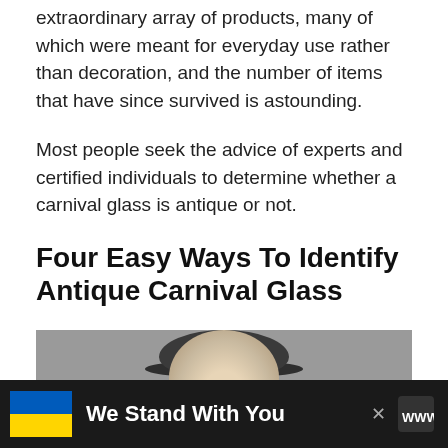extraordinary array of products, many of which were meant for everyday use rather than decoration, and the number of items that have since survived is astounding.
Most people seek the advice of experts and certified individuals to determine whether a carnival glass is antique or not.
Four Easy Ways To Identify Antique Carnival Glass
[Figure (photo): Photo of a person wearing a hat, shown from the shoulders up against a gray background.]
We Stand With You